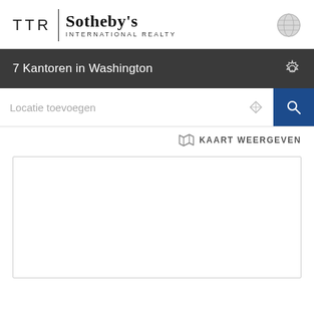[Figure (logo): TTR Sotheby's International Realty logo with globe icon]
7 Kantoren in Washington
Locatie toevoegen
KAART WEERGEVEN